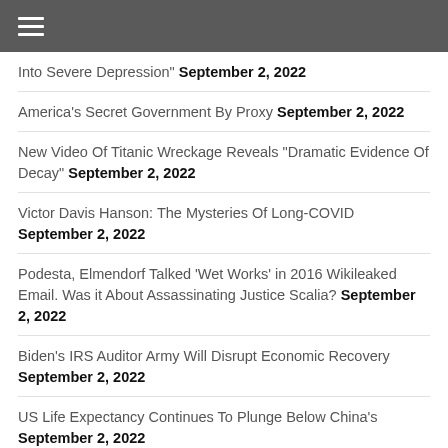☰ (hamburger menu icon)
Into Severe Depression" September 2, 2022
America's Secret Government By Proxy September 2, 2022
New Video Of Titanic Wreckage Reveals "Dramatic Evidence Of Decay" September 2, 2022
Victor Davis Hanson: The Mysteries Of Long-COVID September 2, 2022
Podesta, Elmendorf Talked 'Wet Works' in 2016 Wikileaked Email. Was it About Assassinating Justice Scalia? September 2, 2022
Biden's IRS Auditor Army Will Disrupt Economic Recovery September 2, 2022
US Life Expectancy Continues To Plunge Below China's September 2, 2022
Iran Delivers Ukraine War 'Peace Initiative' From Europe To Moscow September 2, 2022
Super Typhoon Barrels Towards China, Major Shipping Lanes...